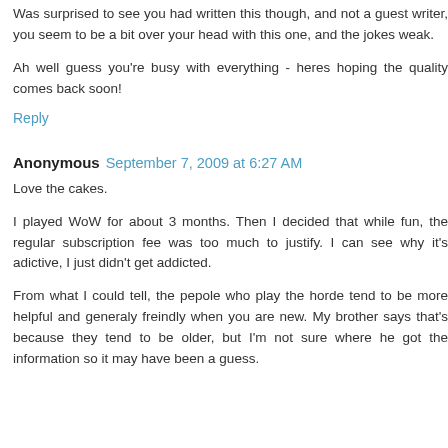Was surprised to see you had written this though, and not a guest writer, you seem to be a bit over your head with this one, and the jokes weak.
Ah well guess you're busy with everything - heres hoping the quality comes back soon!
Reply
Anonymous  September 7, 2009 at 6:27 AM
Love the cakes.
I played WoW for about 3 months. Then I decided that while fun, the regular subscription fee was too much to justify. I can see why it's adictive, I just didn't get addicted.
From what I could tell, the pepole who play the horde tend to be more helpful and generaly freindly when you are new. My brother says that's because they tend to be older, but I'm not sure where he got the information so it may have been a guess.